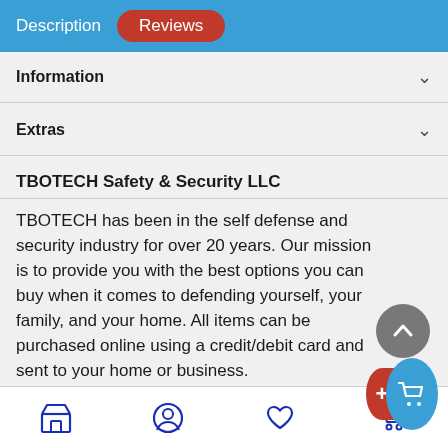Description | Reviews
Information
Extras
TBOTECH Safety & Security LLC
TBOTECH has been in the self defense and security industry for over 20 years.  Our mission is to provide you with the best options you can buy when it comes to defending yourself, your family, and your home.  All items can be purchased online using a credit/debit card and sent to your home or business.
TBOTECH
Store | Profile | Wishlist | Cart